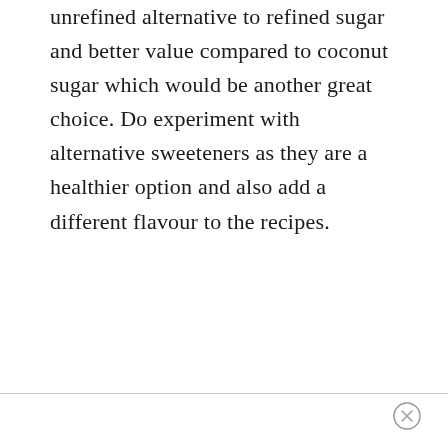unrefined alternative to refined sugar and better value compared to coconut sugar which would be another great choice. Do experiment with alternative sweeteners as they are a healthier option and also add a different flavour to the recipes.